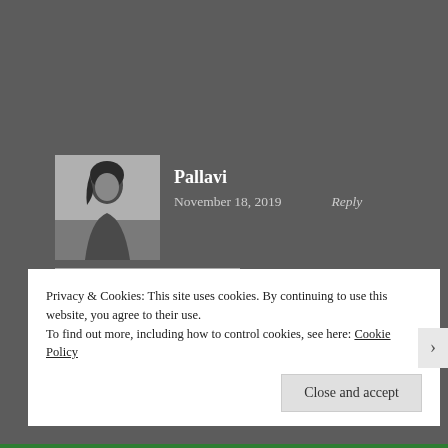Pallavi
November 18, 2019    Reply
Truly, lessons from failures should be kept but failures itself should be shed.
Privacy & Cookies: This site uses cookies. By continuing to use this website, you agree to their use.
To find out more, including how to control cookies, see here: Cookie Policy
Close and accept